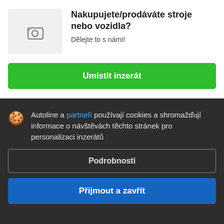[Figure (illustration): Camera/upload icon placeholder with a '+' and camera outline on a light grey background]
Nakupujete/prodáváte stroje nebo vozidla?
Dělejte to s námi!
Umístit inzerát
Autoline a partneři používají cookies a shromažďují informace o návštěvách těchto stránek pro personalizaci inzerátů
Podrobnosti
Přijmout a zavřít